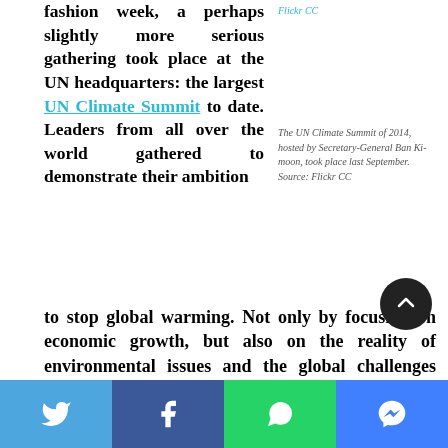fashion week, a perhaps slightly more serious gathering took place at the UN headquarters: the largest UN Climate Summit to date. Leaders from all over the world gathered to demonstrate their ambition to stop global warming. Not only by focusing on economic growth, but also on the reality of environmental issues and the global challenges they present.
The UN Climate Summit of 2014, hosted by Secretary-General Ban Ki-moon, took place last September. Source: Flickr CC
The first UN conference on climate change, working within the structure of the United Nations framework Convention on Climate Change, was held in 1995 in Berlin. Since then, the United Nations Climate Change Conference is held a year. These important conference serve as the formal